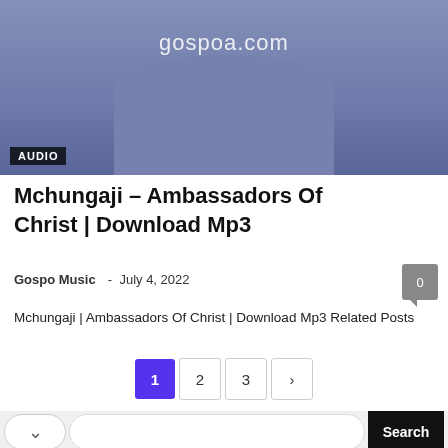[Figure (screenshot): Thumbnail image of a person wearing a blue/purple blazer with 'gospoa.com' watermark and 'AUDIO' badge in bottom left corner]
Mchungaji – Ambassadors Of Christ | Download Mp3
Gospo Music  -  July 4, 2022
Mchungaji | Ambassadors Of Christ | Download Mp3 Related Posts
[Figure (infographic): Pagination controls showing pages 1 (active, purple), 2, 3, and next arrow]
[Figure (screenshot): Search bar with dropdown chevron, input field, and black Search button]
[Figure (infographic): Advertisement banner: US State Department passport seal logo, 'Renew your Passport' heading, body text 'Reduce stress by renewing your passport in fall or winter when processing is faster. travel.state.gov', and 'Learn More' button]